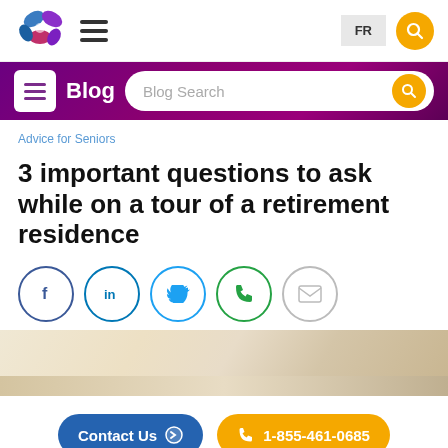[Figure (logo): Pinwheel/flower shaped logo with blue, purple, and pink petals]
FR | Search
Blog | Blog Search
Advice for Seniors
3 important questions to ask while on a tour of a retirement residence
[Figure (infographic): Social sharing icons: Facebook, LinkedIn, Twitter, Phone, Email]
[Figure (photo): Decorative beige/cream gradient strip]
Contact Us
1-855-461-0685